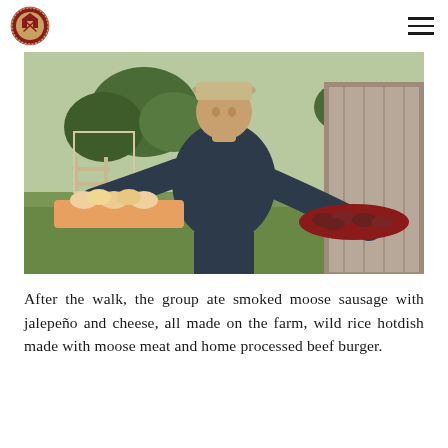Logo and navigation menu
[Figure (photo): A man wearing a cap and dark short-sleeve shirt holds two large trays of food outdoors near a farm building. One tray holds buns/rolls and the other holds sliced smoked sausage. Trees and farm structures visible in background.]
After the walk, the group ate smoked moose sausage with jalepeño and cheese, all made on the farm, wild rice hotdish made with moose meat and home processed beef burger.